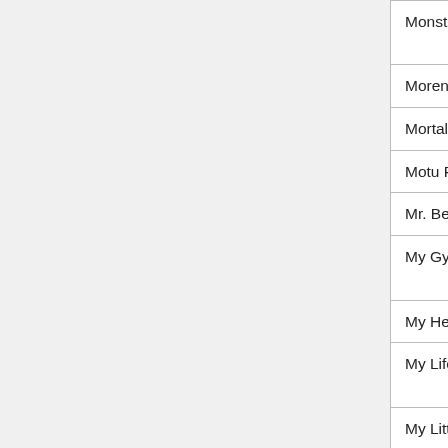| Series/Franchise | Game Title |
| --- | --- |
| Monsters vs. Aliens | Monsters vs. Aliens: Mean, Clean, Zombie...Brains |
| Morenatsu | [S] Sou : Jump |
| Mortal Kombat | Mortal Kombat Ka... |
| Motu Patlu | Bowling Champs |
| Mr. Bean | Mr. Bean Street B... |
| My Gym Partner's a Monkey | My Gym Partner's Monkey: Front Pa... Nuisance |
| My Hero Academia | INTERACTIVE DI... |
| My Life as a Teenage Robot | My Life as a Teen... Robot: Techno Te... |
| My Little Pony | DJ Pinkie Pie |
| My Neighbor Totoro | My Totoro Room |
| Naruto | Naruto Ninja Wor... Storm 2 |